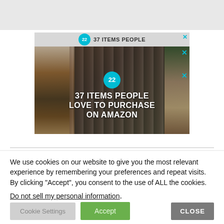[Figure (screenshot): An advertisement banner showing knives and food items with text '37 ITEMS PEOPLE LOVE TO PURCHASE ON AMAZON' and a badge showing '22'. There is a ghost/duplicate of the top portion of the ad visible above the main ad. Close X buttons are visible in teal/cyan color.]
We use cookies on our website to give you the most relevant experience by remembering your preferences and repeat visits. By clicking “Accept”, you consent to the use of ALL the cookies.
Do not sell my personal information.